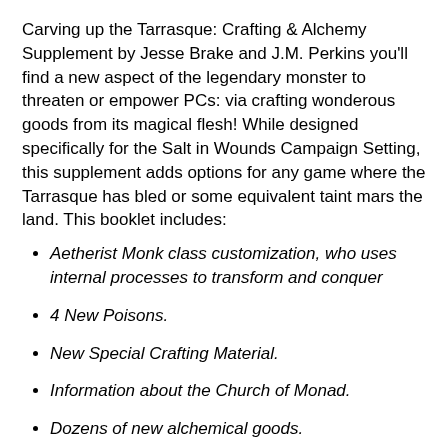Carving up the Tarrasque: Crafting & Alchemy Supplement by Jesse Brake and J.M. Perkins you'll find a new aspect of the legendary monster to threaten or empower PCs: via crafting wonderous goods from its magical flesh! While designed specifically for the Salt in Wounds Campaign Setting, this supplement adds options for any game where the Tarrasque has bled or some equivalent taint mars the land. This booklet includes:
Aetherist Monk class customization, who uses internal processes to transform and conquer
4 New Poisons.
New Special Crafting Material.
Information about the Church of Monad.
Dozens of new alchemical goods.
New wondrous items.
New fiction.
Whether you're a GM or a PC there's options and lore to